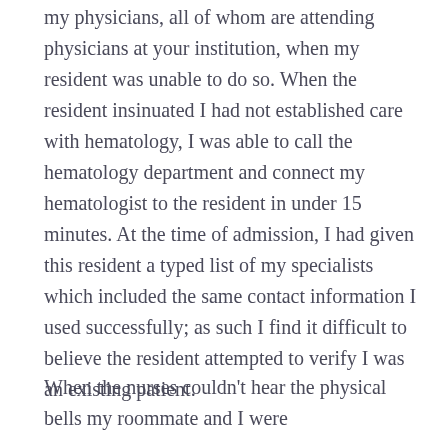my physicians, all of whom are attending physicians at your institution, when my resident was unable to do so. When the resident insinuated I had not established care with hematology, I was able to call the hematology department and connect my hematologist to the resident in under 15 minutes. At the time of admission, I had given this resident a typed list of my specialists which included the same contact information I used successfully; as such I find it difficult to believe the resident attempted to verify I was an existing patient.
When the nurses couldn't hear the physical bells my roommate and I were